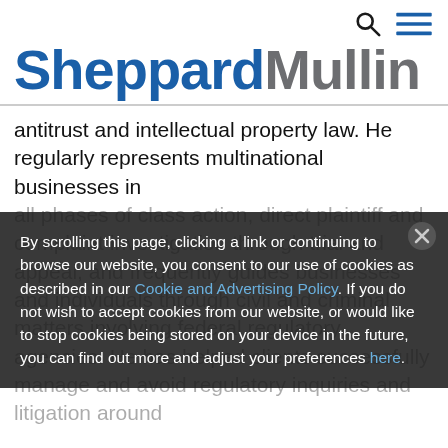[Figure (logo): Sheppard Mullin law firm logo with search and menu icons in top right]
antitrust and intellectual property law. He regularly represents multinational businesses in all phases of class action, direct plaintiff and complaint investigation through trial and appeal, and frequently guides businesses and individuals through civil and criminal matters involving federal regulatory agencies. He has helped clients successfully manage and avoid regulatory inquiries and litigation around
By scrolling this page, clicking a link or continuing to browse our website, you consent to our use of cookies as described in our Cookie and Advertising Policy. If you do not wish to accept cookies from our website, or would like to stop cookies being stored on your device in the future, you can find out more and adjust your preferences here.